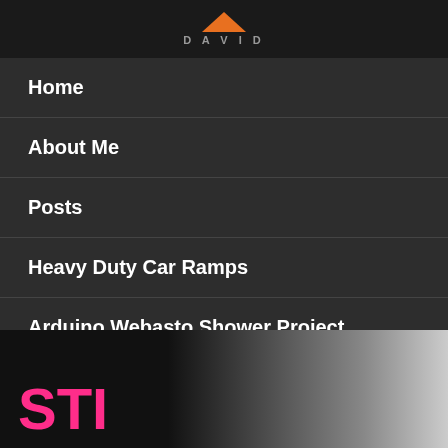DAVID [logo]
Home
About Me
Posts
Heavy Duty Car Ramps
Arduino Webasto Shower Project
Contact
Store
[Figure (photo): Bottom section showing partial car image with pink STI text overlay]